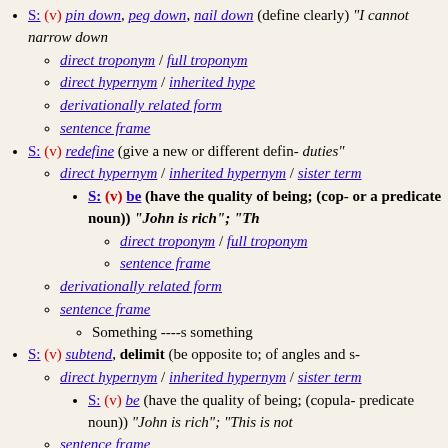S: (v) pin down, peg down, nail down (define clearly) "I cannot narrow down the rules"
direct troponym / full troponym
direct hypernym / inherited hype
derivationally related form
sentence frame
S: (v) redefine (give a new or different defin... duties"
direct hypernym / inherited hypernym / sister term
S: (v) be (have the quality of being; (cop... or a predicate noun)) "John is rich"; "Th..."
direct troponym / full troponym
sentence frame
derivationally related form
sentence frame
Something ----s something
S: (v) subtend, delimit (be opposite to; of angles and s...)
direct hypernym / inherited hypernym / sister term
S: (v) be (have the quality of being; (copula... predicate noun)) "John is rich"; "This is not..."
sentence frame
S: (v) demarcate, delimit, delimitate (set, mark, or draw... something)